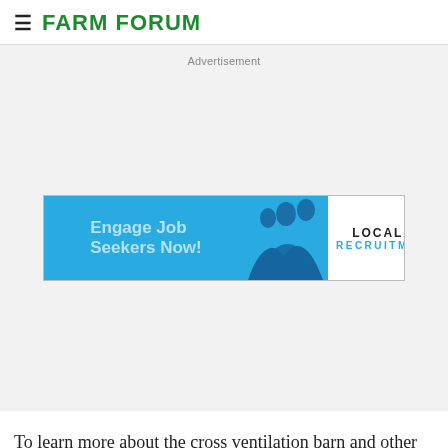FARM FORUM
Advertisement
[Figure (other): LOCALiQ Recruitment advertisement banner showing 'Engage Job Seekers Now!' text on blue background with silhouette of people looking at a screen, and LOCALiQ RECRUITMENT logo on white background.]
To learn more about the cross ventilation barn and other technology the Moes brothers have implemented at MoDak Dairy, visit the